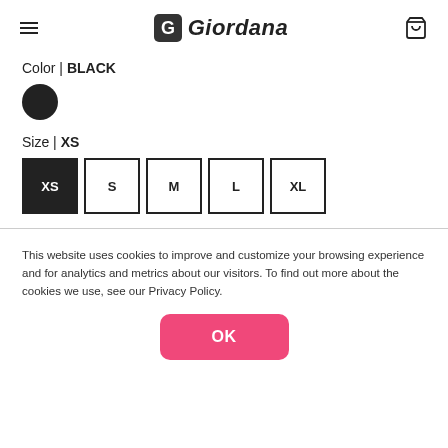Giordana
Color | BLACK
Size | XS
XS  S  M  L  XL
This website uses cookies to improve and customize your browsing experience and for analytics and metrics about our visitors. To find out more about the cookies we use, see our Privacy Policy.
OK